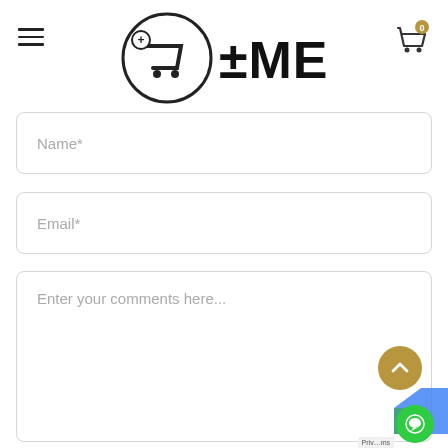±MEDS
Name*
Email*
Enter your comments here...